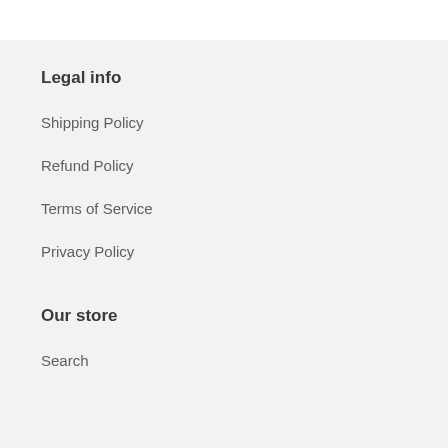Legal info
Shipping Policy
Refund Policy
Terms of Service
Privacy Policy
Our store
Search